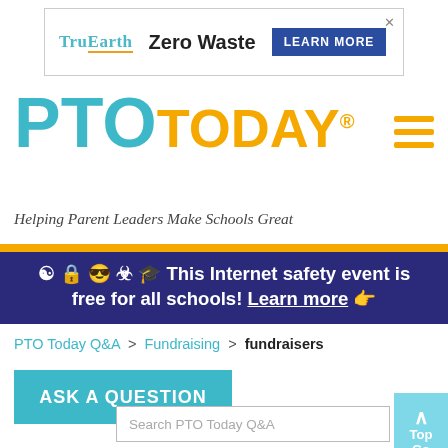[Figure (other): TruEarth Zero Waste advertisement banner with 'LEARN MORE' button]
[Figure (logo): PTO Today logo - PTO in teal/blue, TODAY in orange/yellow with registered trademark symbol]
Helping Parent Leaders Make Schools Great
☯ 🔒 😎 ☣ 🎓 This Internet safety event is free for all schools! Learn more 👉
PTO Today Q&A > Fundraising > fundraisers
ASK A QUESTION
Search PTO Today Q&A